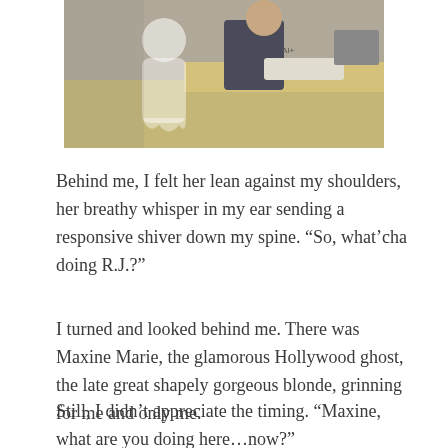[Figure (photo): A person sitting at a desk with a keyboard and monitor, viewed from behind/side angle, with what appears to be a ghost figure overlaid in the foreground.]
Behind me, I felt her lean against my shoulders, her breathy whisper in my ear sending a responsive shiver down my spine. “So, what’cha doing R.J.?”
I turned and looked behind me. There was Maxine Marie, the glamorous Hollywood ghost, the late great shapely gorgeous blonde, grinning for me and only me.
Still, I didn’t appreciate the timing. “Maxine, what are you doing here…now?”